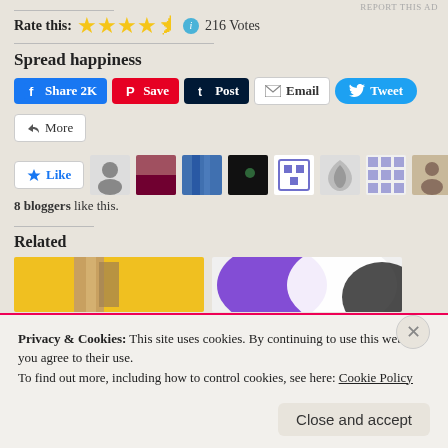Rate this: ★★★★½  216 Votes
Spread happiness
[Figure (screenshot): Social share buttons: Facebook Share 2K, Pinterest Save, Tumblr Post, Email, Twitter Tweet]
[Figure (screenshot): Like button and 8 blogger avatars]
8 bloggers like this.
Related
[Figure (screenshot): Two related article thumbnail images, one yellow and one purple/white/black abstract]
Privacy & Cookies: This site uses cookies. By continuing to use this website, you agree to their use.
To find out more, including how to control cookies, see here: Cookie Policy